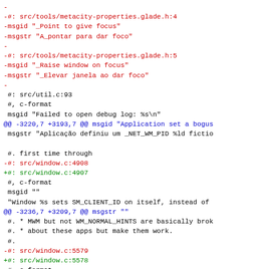diff code snippet showing changes to metacity translation file